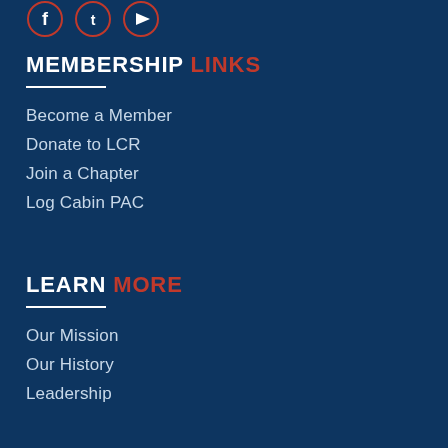[Figure (illustration): Three social media icons (Facebook, Twitter, YouTube) in circular outlines at top left]
MEMBERSHIP LINKS
Become a Member
Donate to LCR
Join a Chapter
Log Cabin PAC
LEARN MORE
Our Mission
Our History
Leadership